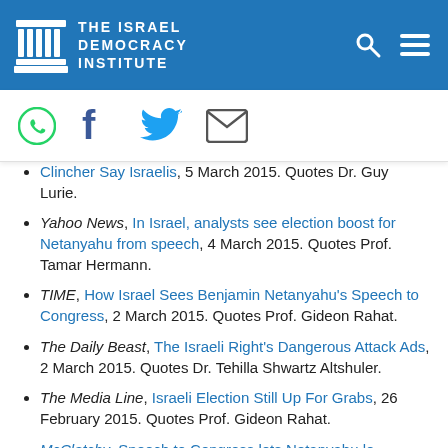THE ISRAEL DEMOCRACY INSTITUTE
Clincher Say Israelis, 5 March 2015. Quotes Dr. Guy Lurie.
Yahoo News, In Israel, analysts see election boost for Netanyahu from speech, 4 March 2015. Quotes Prof. Tamar Hermann.
TIME, How Israel Sees Benjamin Netanyahu's Speech to Congress, 2 March 2015. Quotes Prof. Gideon Rahat.
The Daily Beast, The Israeli Right's Dangerous Attack Ads, 2 March 2015. Quotes Dr. Tehilla Shwartz Altshuler.
The Media Line, Israeli Election Still Up For Grabs, 26 February 2015. Quotes Prof. Gideon Rahat.
McClatchy, Speech to Congress lets Netanyahu lo...